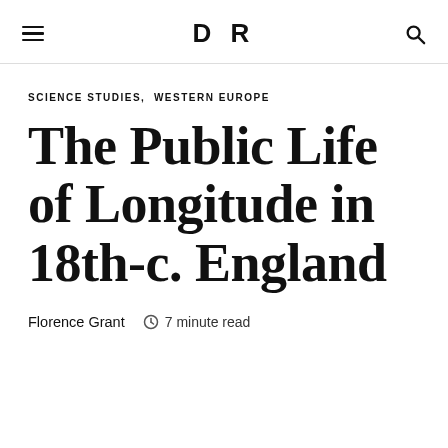D R
SCIENCE STUDIES,  WESTERN EUROPE
The Public Life of Longitude in 18th-c. England
Florence Grant   7 minute read